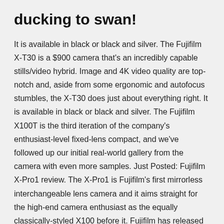ducking to swan!
It is available in black or black and silver. The Fujifilm X-T30 is a $900 camera that's an incredibly capable stills/video hybrid. Image and 4K video quality are top-notch and, aside from some ergonomic and autofocus stumbles, the X-T30 does just about everything right. It is available in black or black and silver. The Fujifilm X100T is the third iteration of the company's enthusiast-level fixed-lens compact, and we've followed up our initial real-world gallery from the camera with even more samples. Just Posted: Fujifilm X-Pro1 review. The X-Pro1 is Fujifilm's first mirrorless interchangeable lens camera and it aims straight for the high-end camera enthusiast as the equally classically-styled X100 before it. Fujifilm has released version 4.0 of its Camera Remote app for iOS. The Android version is expected to be released in May 2019.